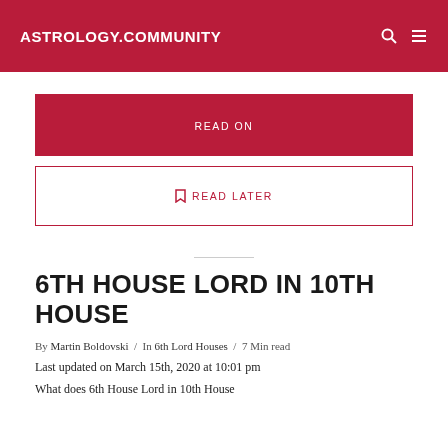ASTROLOGY.COMMUNITY
READ ON
READ LATER
6TH HOUSE LORD IN 10TH HOUSE
By Martin Boldovski / In 6th Lord Houses / 7 Min read
Last updated on March 15th, 2020 at 10:01 pm
What does 6th House Lord in 10th House